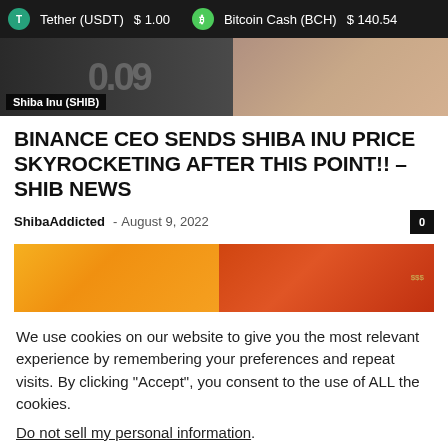Tether (USDT) $1.00   Bitcoin Cash (BCH) $140.54
[Figure (photo): Top banner image with Shiba Inu (SHIB) label overlay, showing partial graphic and portrait photo on right side]
BINANCE CEO SENDS SHIBA INU PRICE SKYROCKETING AFTER THIS POINT!! – SHIB NEWS
ShibaAddicted – August 9, 2022
[Figure (photo): Article feature image with orange/red background showing money (dollar bills) on an orange surface]
We use cookies on our website to give you the most relevant experience by remembering your preferences and repeat visits. By clicking “Accept”, you consent to the use of ALL the cookies.
Do not sell my personal information.
Cookie settings   ACCEPT